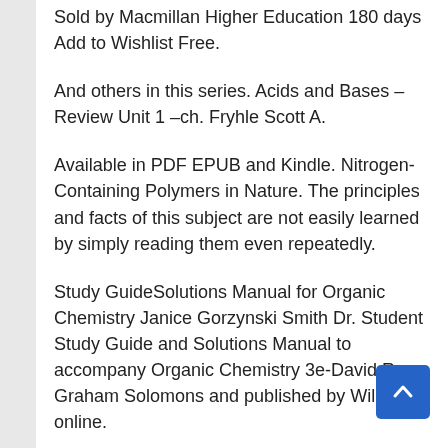Sold by Macmillan Higher Education 180 days Add to Wishlist Free.
And others in this series. Acids and Bases – Review Unit 1 –ch. Fryhle Scott A.
Available in PDF EPUB and Kindle. Nitrogen-Containing Polymers in Nature. The principles and facts of this subject are not easily learned by simply reading them even repeatedly.
Study GuideSolutions Manual for Organic Chemistry Janice Gorzynski Smith Dr. Student Study Guide and Solutions Manual to accompany Organic Chemistry 3e-David R. Graham Solomons and published by Wiley online.